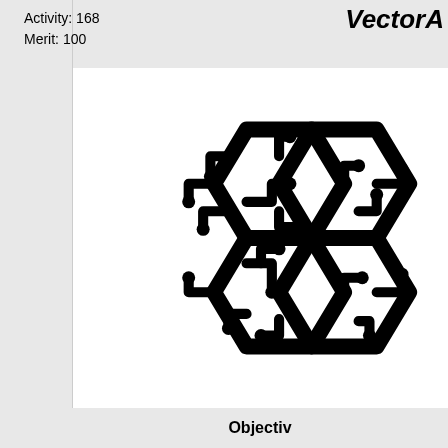Activity: 168
Merit: 100
VectorA
[Figure (logo): A hexagonal circuit-board style brain logo icon in black and white, showing two hexagons with circuit traces and nodes forming a stylized brain shape.]
Objectiv